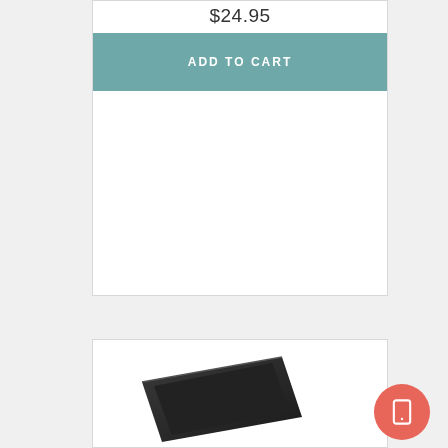$24.95
ADD TO CART
[Figure (photo): Product card top section with price $24.95 and teal Add to Cart button, followed by empty white space]
[Figure (photo): Product card bottom section showing a dark/black electronic tablet or device at an angle]
[Figure (other): Coral/salmon colored floating action button with a tablet/device icon]